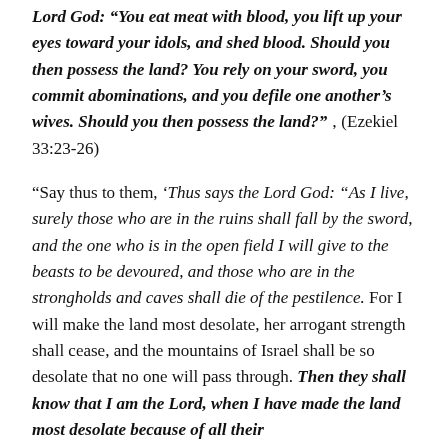Lord God: “You eat meat with blood, you lift up your eyes toward your idols, and shed blood. Should you then possess the land? You rely on your sword, you commit abominations, and you defile one another’s wives. Should you then possess the land?”’ (Ezekiel 33:23-26)
“Say thus to them, ‘Thus says the Lord God: “As I live, surely those who are in the ruins shall fall by the sword, and the one who is in the open field I will give to the beasts to be devoured, and those who are in the strongholds and caves shall die of the pestilence. For I will make the land most desolate, her arrogant strength shall cease, and the mountains of Israel shall be so desolate that no one will pass through. Then they shall know that I am the Lord, when I have made the land most desolate because of all their abominations which they have committed.”